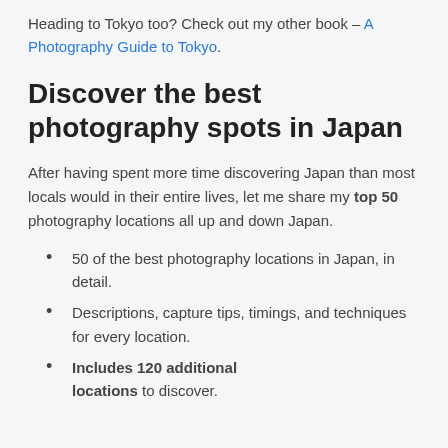Heading to Tokyo too? Check out my other book – A Photography Guide to Tokyo.
Discover the best photography spots in Japan
After having spent more time discovering Japan than most locals would in their entire lives, let me share my top 50 photography locations all up and down Japan.
50 of the best photography locations in Japan, in detail.
Descriptions, capture tips, timings, and techniques for every location.
Includes 120 additional locations to discover.